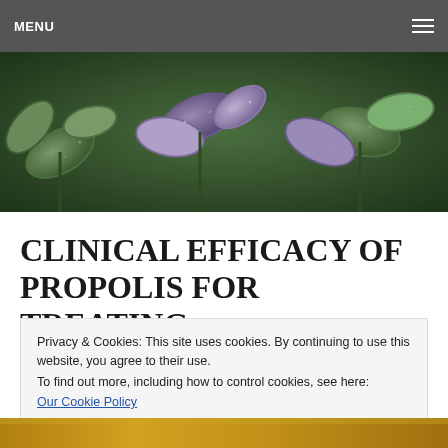MENU
[Figure (photo): Close-up photo of herb plants with green and purple fuzzy leaves (sage/propolis-related herbs)]
CLINICAL EFFICACY OF PROPOLIS FOR TREATING DYSMENORRHEA
Privacy & Cookies: This site uses cookies. By continuing to use this website, you agree to their use.
To find out more, including how to control cookies, see here:
Our Cookie Policy
[Figure (photo): Partial bottom strip showing golden/amber colored substance (propolis)]